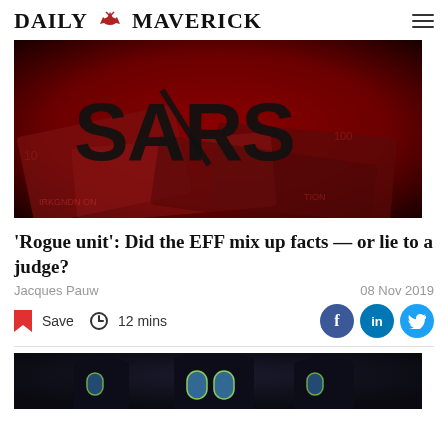DAILY MAVERICK
[Figure (photo): Red-tinted photo showing South African rand banknotes with SARS logo visible]
'Rogue unit': Did the EFF mix up facts — or lie to a judge?
Jacques Pauw
08 Nov 2019
Save  12 mins
[Figure (photo): Night photograph of a church with stained glass windows illuminated]